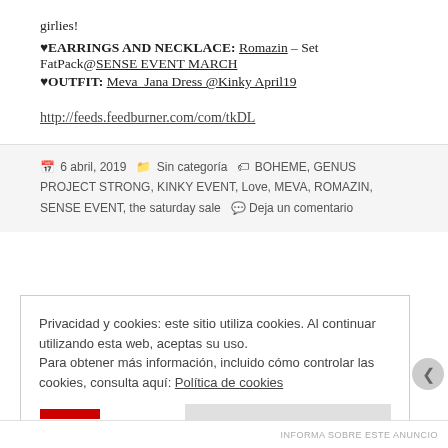girlies!
♥EARRINGS AND NECKLACE: Romazin – Set FatPack@SENSE EVENT MARCH
♥OUTFIT: Meva Jana Dress @Kinky April19
http://feeds.feedburner.com/com/tkDL
6 abril, 2019  Sin categoría  BOHEME, GENUS PROJECT STRONG, KINKY EVENT, Love, MEVA, ROMAZIN, SENSE EVENT, the saturday sale  Deja un comentario
Privacidad y cookies: este sitio utiliza cookies. Al continuar utilizando esta web, aceptas su uso.
Para obtener más información, incluido cómo controlar las cookies, consulta aquí: Política de cookies
Cerrar y aceptar